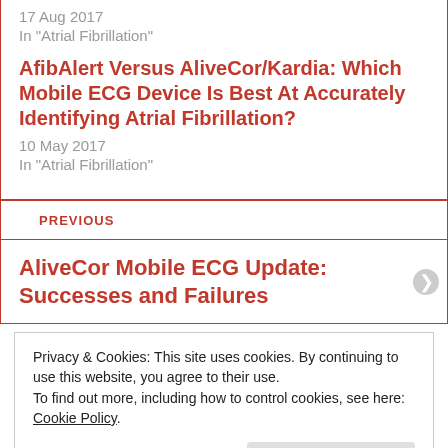17 Aug 2017
In "Atrial Fibrillation"
AfibAlert Versus AliveCor/Kardia: Which Mobile ECG Device Is Best At Accurately Identifying Atrial Fibrillation?
10 May 2017
In "Atrial Fibrillation"
PREVIOUS
AliveCor Mobile ECG Update: Successes and Failures
Privacy & Cookies: This site uses cookies. By continuing to use this website, you agree to their use.
To find out more, including how to control cookies, see here: Cookie Policy
Close and accept